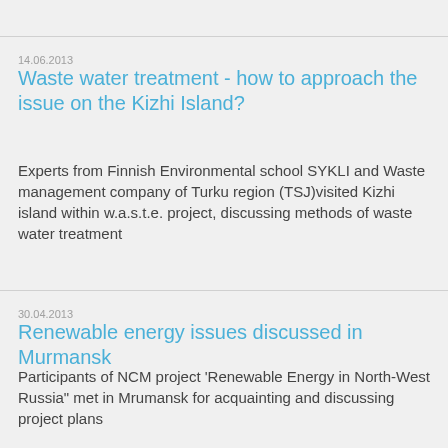14.06.2013
Waste water treatment - how to approach the issue on the Kizhi Island?
Experts from Finnish Environmental school SYKLI and Waste management company of Turku region (TSJ)visited Kizhi island within w.a.s.t.e. project, discussing methods of waste water treatment
30.04.2013
Renewable energy issues discussed in Murmansk
Participants of NCM project 'Renewable Energy in North-West Russia" met in Mrumansk for acquainting and discussing project plans